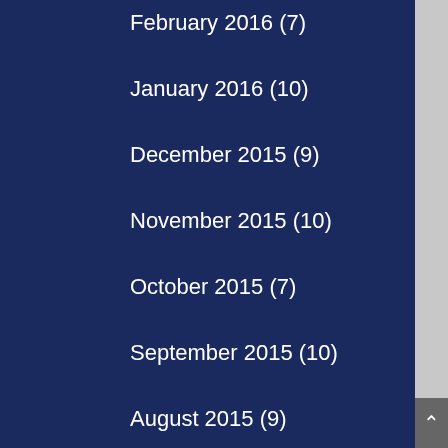February 2016 (7)
January 2016 (10)
December 2015 (9)
November 2015 (10)
October 2015 (7)
September 2015 (10)
August 2015 (9)
July 2015 (10)